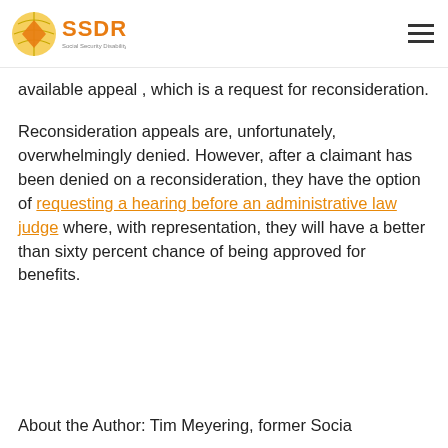SSDRC Social Security Disability Resource Center
available appeal, which is a request for reconsideration.
Reconsideration appeals are, unfortunately, overwhelmingly denied. However, after a claimant has been denied on a reconsideration, they have the option of requesting a hearing before an administrative law judge where, with representation, they will have a better than sixty percent chance of being approved for benefits.
About the Author: Tim Meyering, former Social